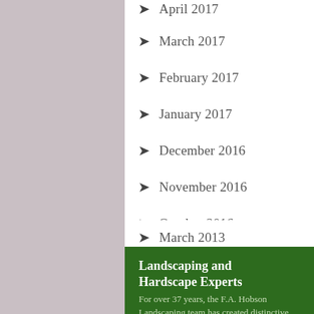April 2017
March 2017
February 2017
January 2017
December 2016
November 2016
October 2016
March 2013
Landscaping and Hardscape Experts
For over 37 years, the F.A. Hobson Landscaping team has created distinctive and artistic